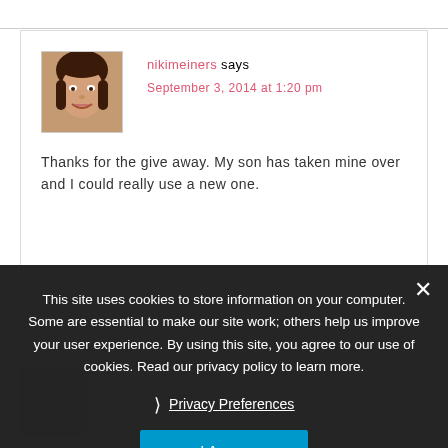nikimeiners says
September 3, 2014 at 1:20 pm
Thanks for the give away. My son has taken mine over and I could really use a new one.
This site uses cookies to store information on your computer. Some are essential to make our site work; others help us improve your user experience. By using this site, you agree to our use of cookies. Read our privacy policy to learn more.
Privacy Preferences
I Agree
September 3, 2014 at 1:32 pm